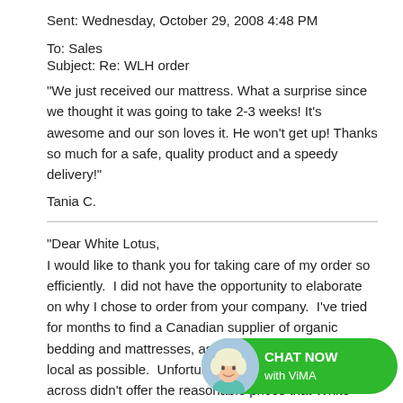Sent: Wednesday, October 29, 2008 4:48 PM
To: Sales
Subject: Re: WLH order
"We just received our mattress. What a surprise since we thought it was going to take 2-3 weeks! It's awesome and our son loves it. He won't get up! Thanks so much for a safe, quality product and a speedy delivery!"
Tania C.
"Dear White Lotus,
I would like to thank you for taking care of my order so efficiently.  I did not have the opportunity to elaborate on why I chose to order from your company.  I've tried for months to find a Canadian supplier of organic bedding and mattresses, as I was hoping to buy as local as possible.  Unfortunately the websites I came across didn't offer the reasonable prices that White Lotus does.  Also, upon searching the U.S. market, White Lotus was the only company I came acros... products to destinations outside of the U.... for being so accommodating, and making the ordering process...
[Figure (illustration): Chat now with ViMA button - green rounded button with blonde avatar]